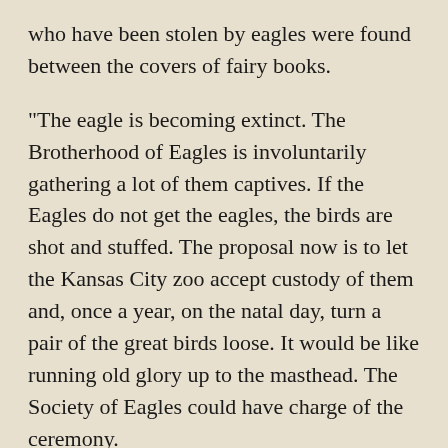who have been stolen by eagles were found between the covers of fairy books.
"The eagle is becoming extinct. The Brotherhood of Eagles is involuntarily gathering a lot of them captives. If the Eagles do not get the eagles, the birds are shot and stuffed. The proposal now is to let the Kansas City zoo accept custody of them and, once a year, on the natal day, turn a pair of the great birds loose. It would be like running old glory up to the masthead. The Society of Eagles could have charge of the ceremony.
"From our side we would want to 'band' the bird, putting a brass band on a leg giving its history so that when in the course of a decade of a century some mighty hunter would bring the same bird